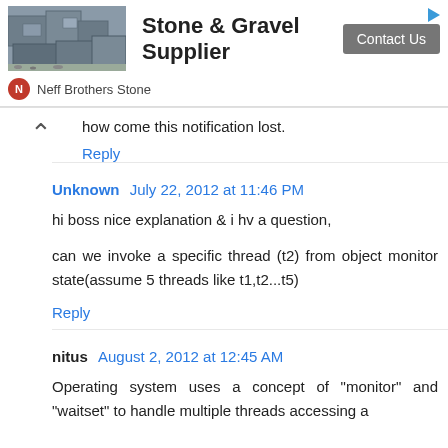[Figure (infographic): Ad banner for Stone & Gravel Supplier by Neff Brothers Stone with a photo of stone/gravel and a Contact Us button]
how come this notification lost.
Reply
Unknown  July 22, 2012 at 11:46 PM
hi boss nice explanation & i hv a question,
can we invoke a specific thread (t2) from object monitor state(assume 5 threads like t1,t2...t5)
Reply
nitus  August 2, 2012 at 12:45 AM
Operating system uses a concept of "monitor" and "waitset" to handle multiple threads accessing a